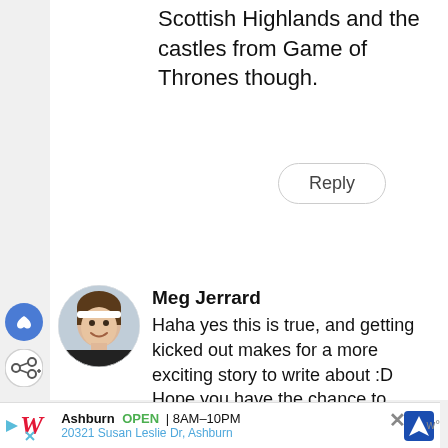Scottish Highlands and the castles from Game of Thrones though.
Reply
[Figure (photo): Circular avatar photo of Meg Jerrard, a woman smiling, with dark background]
Meg Jerrard
Haha yes this is true, and getting kicked out makes for a more exciting story to write about :D Hope you have the chance to visit Scotland and take up the Game of Thrones trail soon!
[Figure (other): Blue circle with heart icon (like button) and white circle with share icon (share button) on left side]
Ashburn OPEN | 8AM–10PM
20321 Susan Leslie Dr, Ashburn